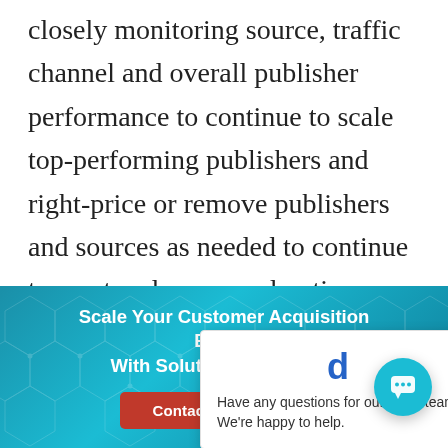closely monitoring source, traffic channel and overall publisher performance to continue to scale top-performing publishers and right-price or remove publishers and sources as needed to continue to meet and exceed advertiser client
[Figure (screenshot): Chat popup with DMS logo, close button, and text: 'Have any questions for our sales team? We're happy to help.']
[Figure (infographic): Blue banner with hexagonal pattern background. Text: 'Scale Your Customer Acquisition Efforts With Solutions From DMS' with a red 'Contact DMS Today' button. A teal chat bubble button appears in the bottom right.]